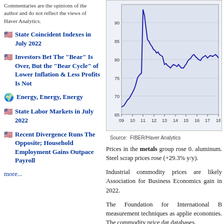Commentaries are the opinions of the author and do not reflect the views of Haver Analytics.
State Coincident Indexes in July 2022
Investors Bet The "Bear" Is Over, But the "Bear Cycle" of Lower Inflation & Less Profits Is Not
Energy, Energy, Energy
State Labor Markets in July 2022
Recent Divergence Runs The Opposite; Household Employment Gains Outpace Payroll
more...
[Figure (continuous-plot): Line chart showing FIBER commodity price index from 2009 to 2018, with y-axis ranging from approximately 65 to 95. The line peaks around 2011 near 93, drops to around 70-72 in 2009 briefly, then fluctuates with a general recovery trend toward 80 by 2018.]
Source: FIBER/Haver Analytics
Prices in the metals group rose 0. aluminum. Steel scrap prices rose (+29.3% y/y).
Industrial commodity prices are likely Association for Business Economics gain in 2022.
The Foundation for International B measurement techniques as applie economies. The commodity price dat databases.